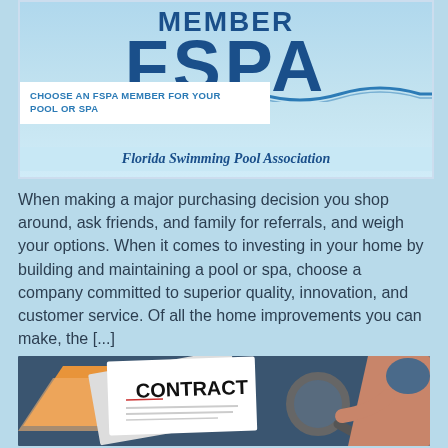[Figure (logo): FSPA Member logo banner with 'MEMBER' text at top, large 'FSPA' letters, wave graphic, white box with 'CHOOSE AN FSPA MEMBER FOR YOUR POOL OR SPA' text, and 'Florida Swimming Pool Association' full name at bottom on light blue background]
When making a major purchasing decision you shop around, ask friends, and family for referrals, and weigh your options. When it comes to investing in your home by building and maintaining a pool or spa, choose a company committed to superior quality, innovation, and customer service. Of all the home improvements you can make, the [...]
[Figure (illustration): Illustration of a contract document with 'CONTRACT' text in bold, magnifying glass examining it, orange arrow shape on left, and a hand/person silhouette on dark blue background]